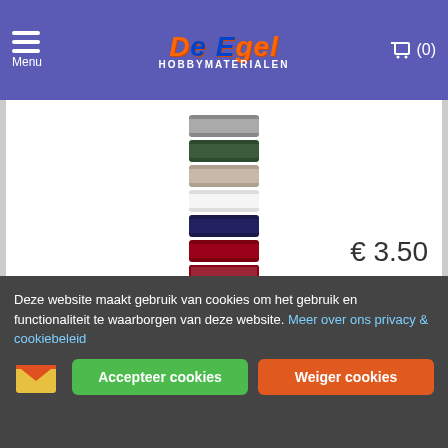Menu | De Egel Hobbymaterialen | Cart (0)
[Figure (photo): Stack of thread/yarn spools in various colors (gray, dark green, beige/taupe, white, dark navy, dark red/maroon) with a label at the bottom reading the product name]
Stitch and Do - Precious Marieke - Charming Xmas
Deze verpakking van Stitch and Do bevat 8 x 50 meter garen in de kleuren van Precious Marieke. Zo heb je altijd de juiste kleur bij de hand .. Lees meer
€ 3.50
Deze website maakt gebruik van cookies om het gebruik en functionaliteit te waarborgen van deze website. Meer over ons privacy & cookiebeleid
Accepteer cookies | Weiger cookies